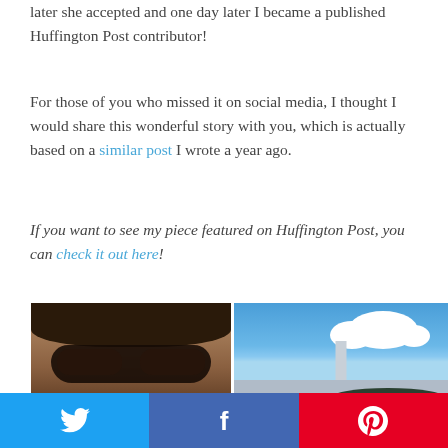later she accepted and one day later I became a published Huffington Post contributor!
For those of you who missed it on social media, I thought I would share this wonderful story with you, which is actually based on a similar post I wrote a year ago.
If you want to see my piece featured on Huffington Post, you can check it out here!
[Figure (photo): Two photos side by side: left shows a person wearing dark sunglasses with dark hair; right shows a city skyline (Hong Kong) with a tall tower, blue sky and a white cloud]
[Figure (infographic): Social sharing bar with three buttons: Twitter (blue), Facebook (dark blue), Pinterest (red)]